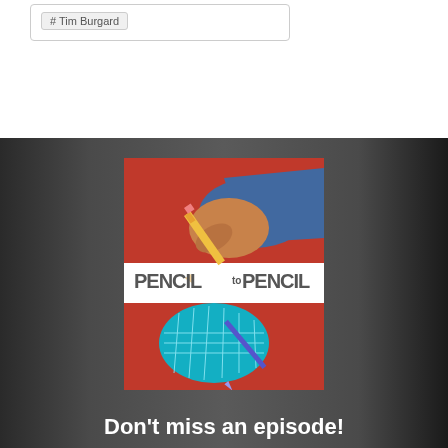# Tim Burgard
[Figure (illustration): Pencil to Pencil podcast/show logo featuring two hands holding pencils — one human hand drawing with a traditional pencil and one stylized 3D wireframe hand drawing with a digital pencil, against a red and white striped background. Bold text reads PENCIL to PENCIL.]
Don't miss an episode!